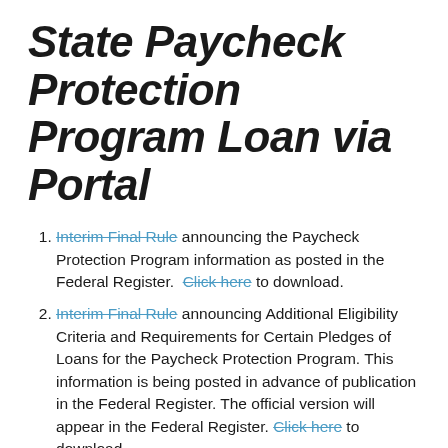State Paycheck Protection Program Loan via Portal
Interim Final Rule announcing the Paycheck Protection Program information as posted in the Federal Register. Click here to download.
Interim Final Rule announcing Additional Eligibility Criteria and Requirements for Certain Pledges of Loans for the Paycheck Protection Program. This information is being posted in advance of publication in the Federal Register. The official version will appear in the Federal Register. Click here to download.
Interim Final Rule announcing additional information on Promissory Notes, Authorizations, Affiliation, and Eligibility. This information is being posted in advance of publication in the Federal Register. The official